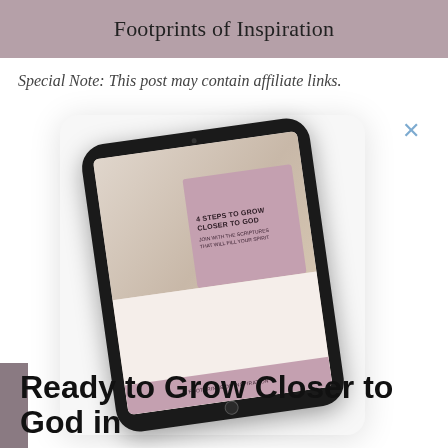Footprints of Inspiration
Special Note: This post may contain affiliate links.
[Figure (illustration): A popup box with a rounded rectangle containing an image of a tablet device displaying a book cover titled '4 Steps to Grow Closer to God'. A close (X) button appears in the upper right corner of the popup.]
Ready to Grow Closer to God in